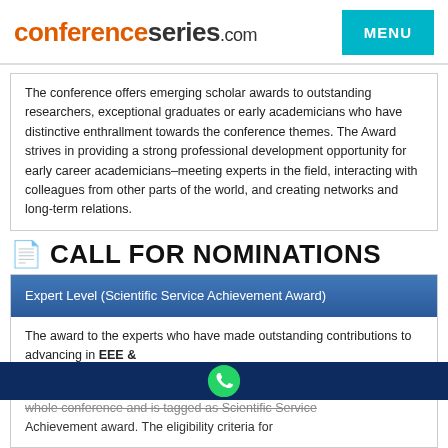conferenceseries.com | MENU
The conference offers emerging scholar awards to outstanding researchers, exceptional graduates or early academicians who have distinctive enthrallment towards the conference themes. The Award strives in providing a strong professional development opportunity for early career academicians–meeting experts in the field, interacting with colleagues from other parts of the world, and creating networks and long-term relations.
CALL FOR NOMINATIONS
Expert Level (Scientific Service Achievement Award)
The award to the experts who have made outstanding contributions to advancing in EEE &
whole conference and is tagged as Scientific Service Achievement award. The eligibility criteria for